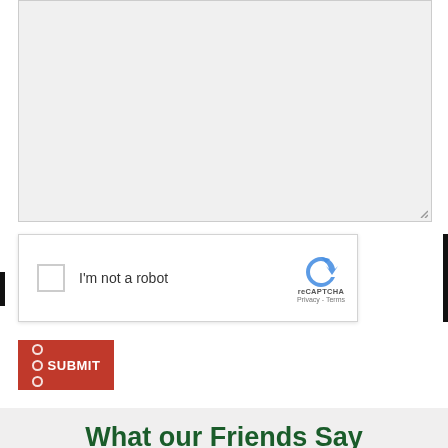[Figure (screenshot): Textarea input field with gray background and resize handle in bottom-right corner]
[Figure (screenshot): reCAPTCHA widget with checkbox labeled 'I'm not a robot' and reCAPTCHA logo with Privacy and Terms links]
[Figure (screenshot): Red SUBMIT button with circles icon and bold white text]
What our Friends Say About Us...
[Figure (screenshot): White card/box partially visible at the bottom of the page]